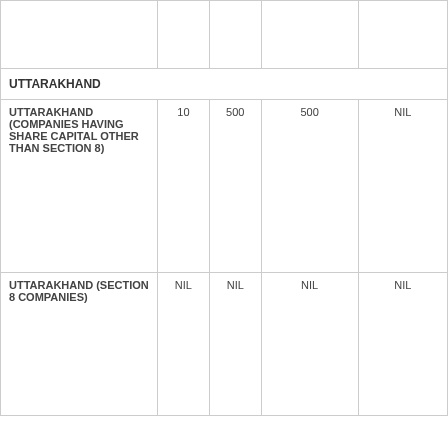|  |  |  |  |  |
| UTTARAKHAND |  |  |  |  |
| UTTARAKHAND (COMPANIES HAVING SHARE CAPITAL OTHER THAN SECTION 8) | 10 | 500 | 500 | NIL |
| UTTARAKHAND (SECTION 8 COMPANIES) | NIL | NIL | NIL | NIL |